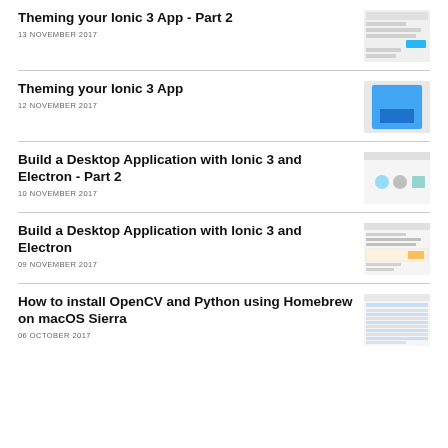Theming your Ionic 3 App - Part 2
13 NOVEMBER 2017
[Figure (screenshot): Screenshot thumbnail of Theming your Ionic 3 App Part 2]
Theming your Ionic 3 App
12 NOVEMBER 2017
[Figure (screenshot): Blue Ionic app screenshot thumbnail]
Build a Desktop Application with Ionic 3 and Electron - Part 2
10 NOVEMBER 2017
[Figure (screenshot): Desktop application screenshot thumbnail]
Build a Desktop Application with Ionic 3 and Electron
09 NOVEMBER 2017
[Figure (screenshot): Desktop application screenshot thumbnail 2]
How to install OpenCV and Python using Homebrew on macOS Sierra
06 OCTOBER 2017
[Figure (screenshot): OpenCV macOS installation screenshot]